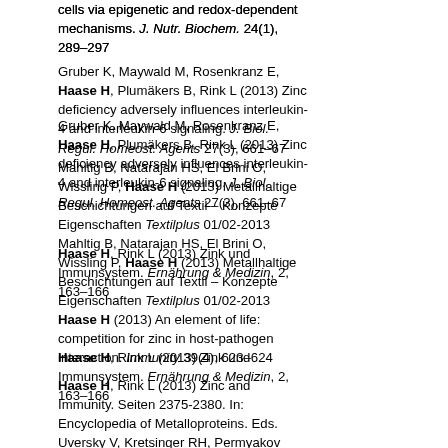cells via epigenetic and redox-dependent mechanisms. J. Nutr. Biochem. 24(1), 289–297
Gruber K, Maywald M, Rosenkranz E, Haase H, Plumäkers B, Rink L (2013) Zinc deficiency adversely influences interleukin-4 and interleukin-6 signaling. J. Biol. Regul. Homeost. Agents 27(3), 661–67
Mahltig B, Natarajan HS, El Brini O, Wissling P, Haase H (2013) Metallhaltige Beschichtungen auf Textil – Konzepte Eigenschaften Textilplus 01/02-2013
Haase H, Rink L (2013) Zink und Immunsystem. Ernährung & Medizin, 2, 163–166
Haase H (2013) An element of life: competition for zinc in host-pathogen interaction. Immunity 39(4), 623–624
Haase H, Rink L (2013) Zinc and Immunity. Seiten 2375-2380. In: Encyclopedia of Metalloproteins. Eds. Uversky V, Kretsinger RH, Permyakov E. Springer, New York, ISBN 978-1-4614-1532-9